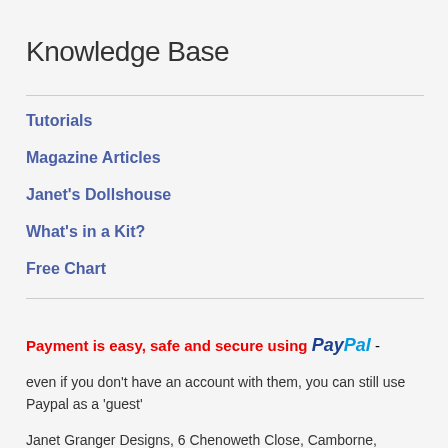Knowledge Base
Tutorials
Magazine Articles
Janet's Dollshouse
What's in a Kit?
Free Chart
Payment is easy, safe and secure using PayPal - even if you don't have an account with them, you can still use Paypal as a 'guest'
Janet Granger Designs, 6 Chenoweth Close, Camborne, Cornwall, England, TR14 7JR Tel: +44 (0)1209 611928